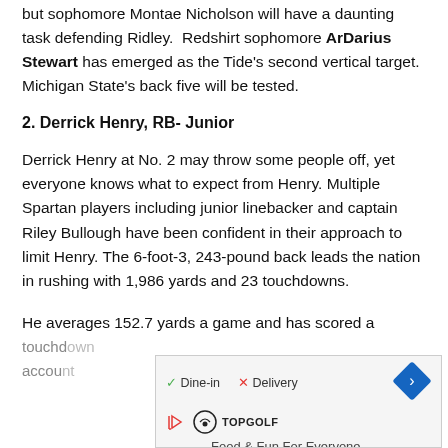but sophomore Montae Nicholson will have a daunting task defending Ridley. Redshirt sophomore ArDarius Stewart has emerged as the Tide's second vertical target. Michigan State's back five will be tested.
2. Derrick Henry, RB- Junior
Derrick Henry at No. 2 may throw some people off, yet everyone knows what to expect from Henry. Multiple Spartan players including junior linebacker and captain Riley Bullough have been confident in their approach to limit Henry. The 6-foot-3, 243-pound back leads the nation in rushing with 1,986 yards and 23 touchdowns.
He averages 152.7 yards a game and has scored a touchdown... account...
[Figure (other): Advertisement overlay for TopGolf showing Dine-in and Delivery options with navigation icon]